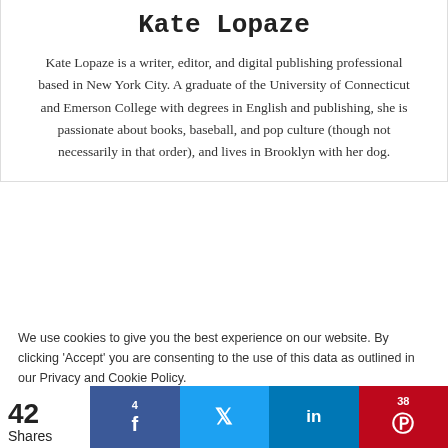Kate Lopaze
Kate Lopaze is a writer, editor, and digital publishing professional based in New York City. A graduate of the University of Connecticut and Emerson College with degrees in English and publishing, she is passionate about books, baseball, and pop culture (though not necessarily in that order), and lives in Brooklyn with her dog.
We use cookies to give you the best experience on our website. By clicking 'Accept' you are consenting to the use of this data as outlined in our Privacy and Cookie Policy.
Accept
42 Shares
4
38